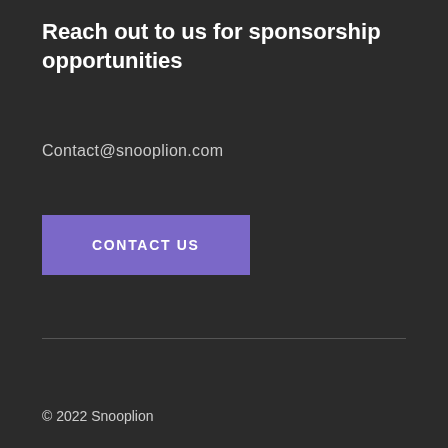Reach out to us for sponsorship opportunities
Contact@snooplion.com
CONTACT US
© 2022 Snooplion